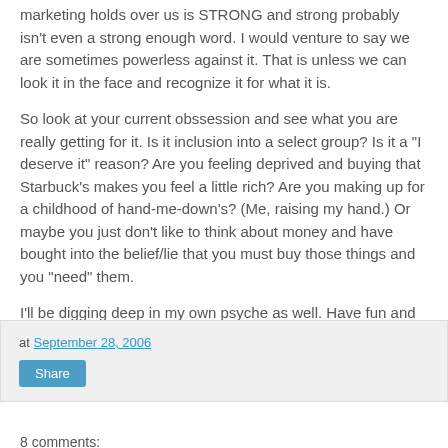marketing holds over us is STRONG and strong probably isn't even a strong enough word. I would venture to say we are sometimes powerless against it. That is unless we can look it in the face and recognize it for what it is.
So look at your current obssession and see what you are really getting for it. Is it inclusion into a select group? Is it a "I deserve it" reason? Are you feeling deprived and buying that Starbuck's makes you feel a little rich? Are you making up for a childhood of hand-me-down's? (Me, raising my hand.) Or maybe you just don't like to think about money and have bought into the belief/lie that you must buy those things and you "need" them.
I'll be digging deep in my own psyche as well. Have fun and let me know what you discover in there!
at September 28, 2006
Share
8 comments: